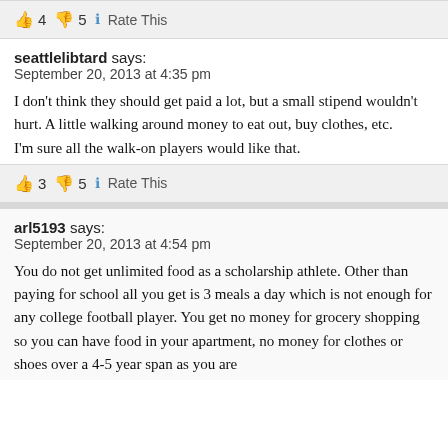👍 4 👎 5 ℹ Rate This
seattlelibtard says:
September 20, 2013 at 4:35 pm
I don't think they should get paid a lot, but a small stipend wouldn't hurt. A little walking around money to eat out, buy clothes, etc.
I'm sure all the walk-on players would like that.
👍 3 👎 5 ℹ Rate This
arl5193 says:
September 20, 2013 at 4:54 pm
You do not get unlimited food as a scholarship athlete. Other than paying for school all you get is 3 meals a day which is not enough for any college football player. You get no money for grocery shopping so you can have food in your apartment, no money for clothes or shoes over a 4-5 year span as you are